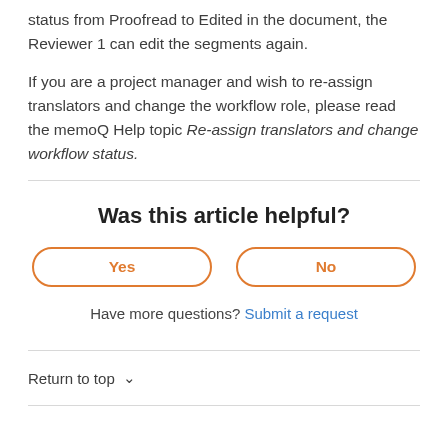status from Proofread to Edited in the document, the Reviewer 1 can edit the segments again.

If you are a project manager and wish to re-assign translators and change the workflow role, please read the memoQ Help topic Re-assign translators and change workflow status.
Was this article helpful?
Have more questions? Submit a request
Return to top